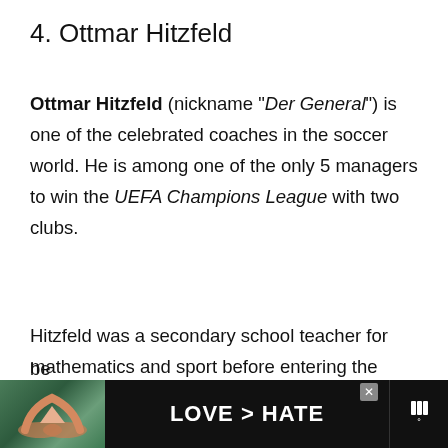4. Ottmar Hitzfeld
Ottmar Hitzfeld (nickname “Der General”) is one of the celebrated coaches in the soccer world. He is among one of the only 5 managers to win the UEFA Champions League with two clubs.
Hitzfeld was a secondary school teacher for mathematics and sport before entering the soccer world.
He became a professional soccer player in the la 1960s and began his coaching journey at the
[Figure (other): Advertisement banner with hands forming a heart shape on green background, text 'LOVE > HATE', with close button and logo]